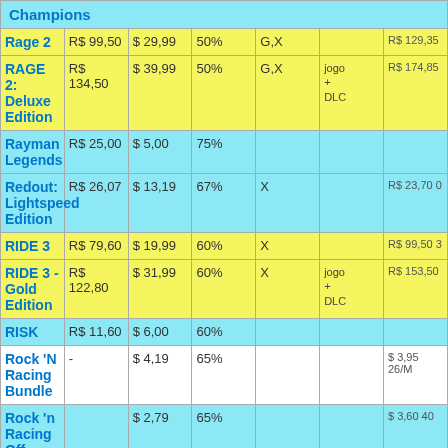| Game | R$ | $ | % | Plat | Note | Histórico |
| --- | --- | --- | --- | --- | --- | --- |
| Champions |  |  |  |  |  |  |
| Rage 2 | R$ 99,50 | $ 29,99 | 50% | G,X |  | R$ 129,35 |
| RAGE 2: Deluxe Edition | R$ 134,50 | $ 39,99 | 50% | G,X | jogo + DLC | R$ 174,85 |
| Rayman Legends | R$ 25,00 | $ 5,00 | 75% |  |  |  |
| Redout: Lightspeed Edition | R$ 26,07 | $ 13,19 | 67% | X |  | R$ 23,70 0 |
| RIDE 3 | R$ 79,60 | $ 19,99 | 60% | X |  | R$ 99,50 3 |
| RIDE 3 - Gold Edition | R$ 122,80 | $ 31,99 | 60% | X | jogo + DLC | R$ 153,50 |
| RISK | R$ 11,60 | $ 6,00 | 60% |  |  |  |
| Rock 'N Racing Bundle | - | $ 4,19 | 65% |  |  | $ 3,95 26/M |
| Rock 'n Racing Off |  | $ 2,79 | 65% |  |  | $ 3,60 40 |